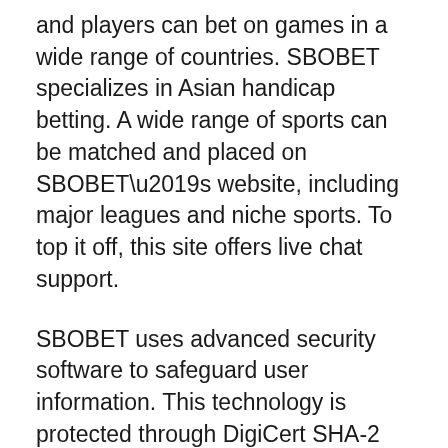and players can bet on games in a wide range of countries. SBOBET specializes in Asian handicap betting. A wide range of sports can be matched and placed on SBOBET’s website, including major leagues and niche sports. To top it off, this site offers live chat support.
SBOBET uses advanced security software to safeguard user information. This technology is protected through DigiCert SHA-2 encryption practices. Once you sign up, you’ll receive an email with further instructions and the required documents, depending on the country you’re in. Once you’ve established your account with SBOBET, you can deposit and withdraw money through a variety of deposit and withdrawal